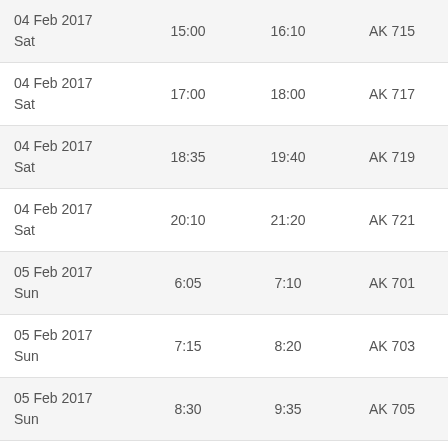| 04 Feb 2017
Sat | 15:00 | 16:10 | AK 715 | 109.00 |
| 04 Feb 2017
Sat | 17:00 | 18:00 | AK 717 | 109.00 |
| 04 Feb 2017
Sat | 18:35 | 19:40 | AK 719 | 109.00 |
| 04 Feb 2017
Sat | 20:10 | 21:20 | AK 721 | 109.00 |
| 05 Feb 2017
Sun | 6:05 | 7:10 | AK 701 | 109.00 |
| 05 Feb 2017
Sun | 7:15 | 8:20 | AK 703 | 119.00 |
| 05 Feb 2017
Sun | 8:30 | 9:35 | AK 705 | 159.00 |
| 05 Feb 2017
Sun | 10:45 | 11:45 | AK 707 | 239.00 |